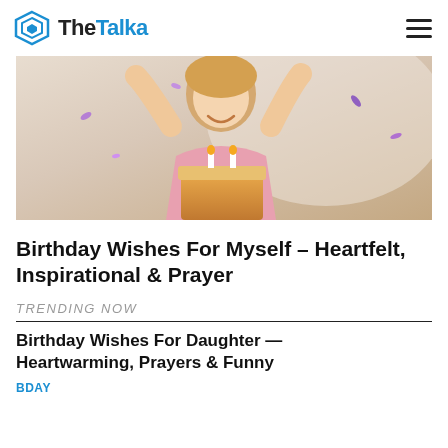TheTalka
[Figure (photo): Woman with long blonde hair smiling and holding a birthday cake with candles, confetti in the background]
Birthday Wishes For Myself – Heartfelt, Inspirational & Prayer
TRENDING NOW
Birthday Wishes For Daughter — Heartwarming, Prayers & Funny
BDAY